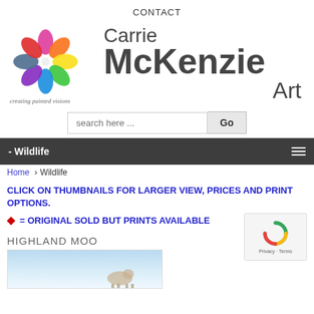CONTACT
[Figure (logo): Carrie McKenzie Art logo - colorful pinwheel/swirl logo on left, text 'Carrie McKenzie Art' on right, tagline 'creating painted visions' below logo]
[Figure (screenshot): Search bar with 'search here ...' placeholder and 'Go' button]
- Wildlife
Home › Wildlife
CLICK ON THUMBNAILS FOR LARGER VIEW, PRICES AND PRINT OPTIONS.
♦ = ORIGINAL SOLD BUT PRINTS AVAILABLE
HIGHLAND MOO
[Figure (photo): Partial thumbnail of Highland Moo artwork showing light blue sky background]